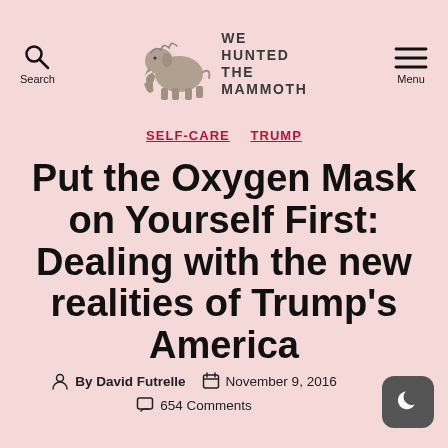We Hunted The Mammoth — Search | Menu
[Figure (logo): We Hunted The Mammoth logo: a woolly mammoth illustration with the text WE HUNTED THE MAMMOTH]
SELF-CARE  TRUMP
Put the Oxygen Mask on Yourself First: Dealing with the new realities of Trump's America
By David Futrelle   November 9, 2016   654 Comments